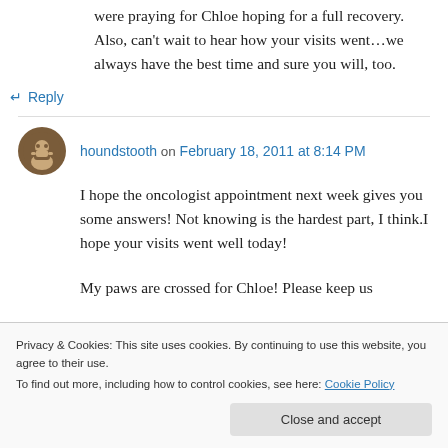were praying for Chloe hoping for a full recovery. Also, can't wait to hear how your visits went…we always have the best time and sure you will, too.
↵ Reply
houndstooth on February 18, 2011 at 8:14 PM
I hope the oncologist appointment next week gives you some answers! Not knowing is the hardest part, I think.I hope your visits went well today!
My paws are crossed for Chloe! Please keep us
Privacy & Cookies: This site uses cookies. By continuing to use this website, you agree to their use.
To find out more, including how to control cookies, see here: Cookie Policy
Close and accept